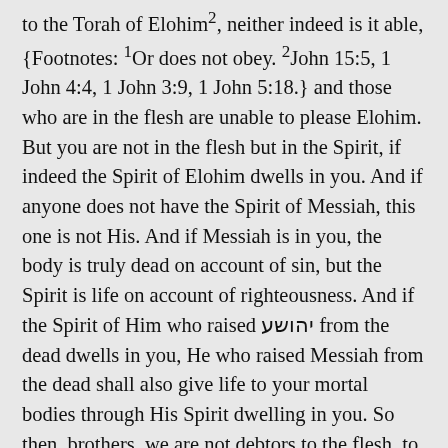to the Torah of Elohim2, neither indeed is it able, {Footnotes: 1Or does not obey. 2John 15:5, 1 John 4:4, 1 John 3:9, 1 John 5:18.} and those who are in the flesh are unable to please Elohim. But you are not in the flesh but in the Spirit, if indeed the Spirit of Elohim dwells in you. And if anyone does not have the Spirit of Messiah, this one is not His. And if Messiah is in you, the body is truly dead on account of sin, but the Spirit is life on account of righteousness. And if the Spirit of Him who raised יהושע from the dead dwells in you, He who raised Messiah from the dead shall also give life to your mortal bodies through His Spirit dwelling in you. So then, brothers, we are not debtors to the flesh, to live according to the flesh. For if you live according to the flesh, you are going to die; but if by the Spirit you put to death the deeds of the body, you shall live. For as many as are led by the Spirit of Elohim, these are sons of Elohim. For you did not receive the spirit of bondage again to fear, but you received the Spirit of